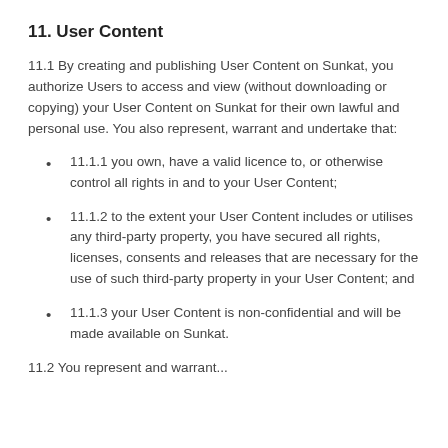11. User Content
11.1 By creating and publishing User Content on Sunkat, you authorize Users to access and view (without downloading or copying) your User Content on Sunkat for their own lawful and personal use. You also represent, warrant and undertake that:
11.1.1 you own, have a valid licence to, or otherwise control all rights in and to your User Content;
11.1.2 to the extent your User Content includes or utilises any third-party property, you have secured all rights, licenses, consents and releases that are necessary for the use of such third-party property in your User Content; and
11.1.3 your User Content is non-confidential and will be made available on Sunkat.
11.2 You represent and warrant...